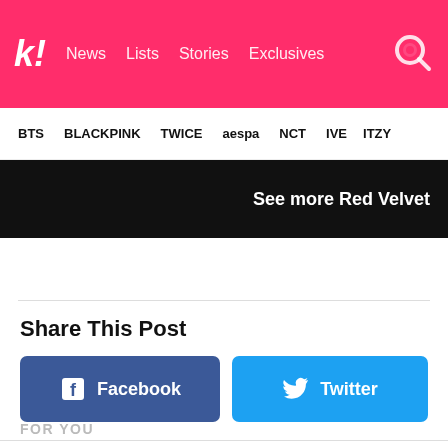kk! News Lists Stories Exclusives
BTS BLACKPINK TWICE aespa NCT IVE ITZY
See more Red Velvet
Share This Post
Facebook
Twitter
FOR YOU